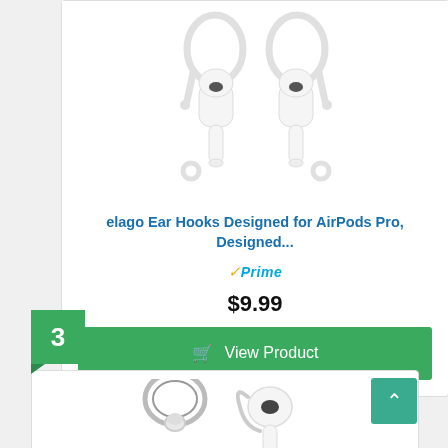[Figure (photo): White AirPods Pro earbuds with white ear hook accessories attached, shown as a pair from the front]
elago Ear Hooks Designed for AirPods Pro, Designed...
Prime
$9.99
View Product
3
[Figure (photo): Partial image of ear hook accessories with AirPods Pro, silver/chrome colored hooks shown]